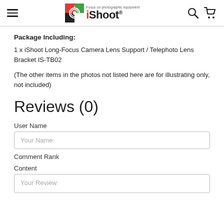iShoot - Focus on photographic equipment
Package Including:
1 x iShoot Long-Focus Camera Lens Support / Telephoto Lens Bracket IS-TB02
(The other items in the photos not listed here are for illustrating only, not included)
Reviews (0)
User Name
Your Name:
Comment Rank
Content
Your Review: